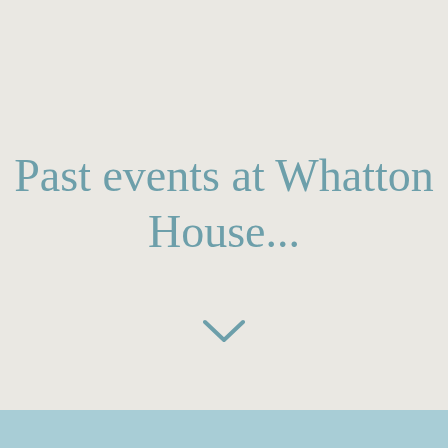Past events at Whatton House...
[Figure (illustration): A small downward-pointing chevron/arrow icon in muted teal color, indicating scroll down]